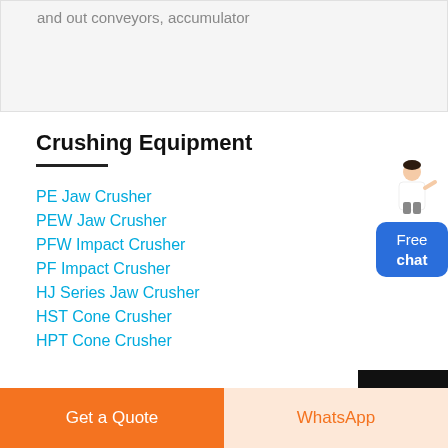and out conveyors, accumulator
Crushing Equipment
PE Jaw Crusher
PEW Jaw Crusher
PFW Impact Crusher
PF Impact Crusher
HJ Series Jaw Crusher
HST Cone Crusher
HPT Cone Crusher
[Figure (illustration): Customer service representative figure with blue Free chat button]
Get a Quote
WhatsApp